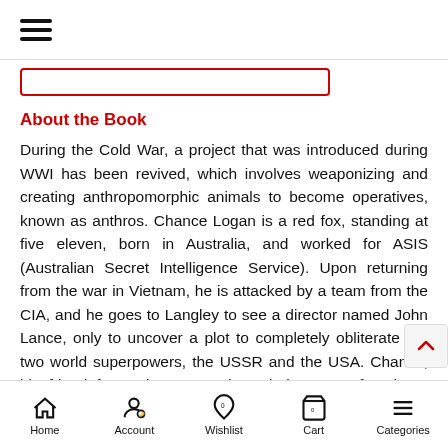[Figure (screenshot): Hamburger menu icon (three horizontal lines) in top-left corner]
[Figure (screenshot): Red-bordered search bar outline below top bar]
About the Book
During the Cold War, a project that was introduced during WWI has been revived, which involves weaponizing and creating anthropomorphic animals to become operatives, known as anthros. Chance Logan is a red fox, standing at five eleven, born in Australia, and worked for ASIS (Australian Secret Intelligence Service). Upon returning from the war in Vietnam, he is attacked by a team from the CIA, and he goes to Langley to see a director named John Lance, only to uncover a plot to completely obliterate the two world superpowers, the USSR and the USA. Chance, his friend from Vietnam, and a whole team of anthros, including his girlfriend, Katie, take matters into their own hands/paws to
Home  Account  Wishlist  Cart  Categories